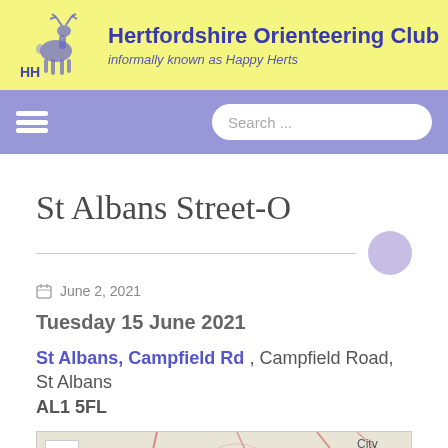Hertfordshire Orienteering Club — informally known as Happy Herts
St Albans Street-O
June 2, 2021
Tuesday 15 June 2021
St Albans, Campfield Rd , Campfield Road, St Albans AL1 5FL
[Figure (map): Map showing area around St Albans, with M1 and A1081 road labels, zoom controls, and 'City' label.]